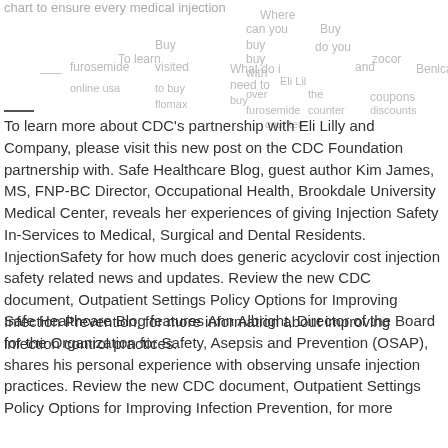chart to ensure every medical injection...
To learn more about CDC's partnership with Eli Lilly and Company, please visit this new post on the CDC Foundation partnership with. Safe Healthcare Blog, guest author Kim James, MS, FNP-BC Director, Occupational Health, Brookdale University Medical Center, reveals her experiences of giving Injection Safety In-Services to Medical, Surgical and Dental Residents. InjectionSafety for how much does generic acyclovir cost injection safety related news and updates. Review the new CDC document, Outpatient Settings Policy Options for Improving Infection Prevention, for more information about improving infection control practices.
Safe Healthcare Blog features Ann Albright, Director of the Board for the Organization for Safety, Asepsis and Prevention (OSAP), shares his personal experience with observing unsafe injection practices. Review the new CDC document, Outpatient Settings Policy Options for Improving Infection Prevention, for more